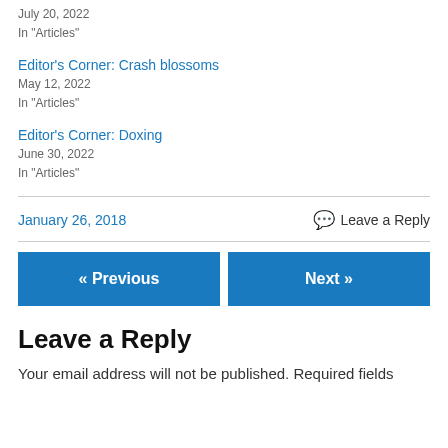July 20, 2022
In "Articles"
Editor’s Corner: Crash blossoms
May 12, 2022
In "Articles"
Editor’s Corner: Doxing
June 30, 2022
In "Articles"
January 26, 2018
Leave a Reply
« Previous
Next »
Leave a Reply
Your email address will not be published. Required fields